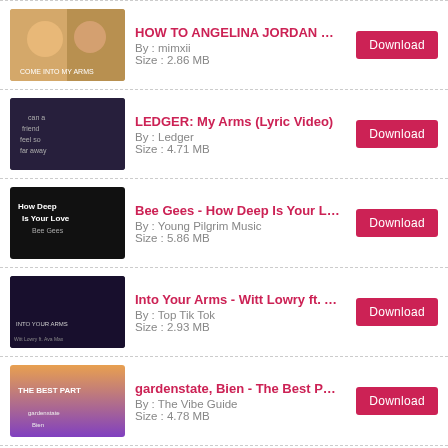HOW TO ANGELINA JORDAN COME INTO MY ARMS REA... By: mimxii Size: 2.86 MB
LEDGER: My Arms (Lyric Video) By: Ledger Size: 4.71 MB
Bee Gees - How Deep Is Your Love (Lyrics) By: Young Pilgrim Music Size: 5.86 MB
Into Your Arms - Witt Lowry ft. Ava Max (Lyrics + Vietsu... By: Top Tik Tok Size: 2.93 MB
gardenstate, Bien - The Best Part (Lyrics) By: The Vibe Guide Size: 4.78 MB
Stephen Sanchez - Until I Found You (Lyrics) By: Dan Music Size: 4.01 MB
Ava Max - Into Your Arms (NO RAP) [Lyrics/Vietsub] ~ T By: CHILL WITH ME +